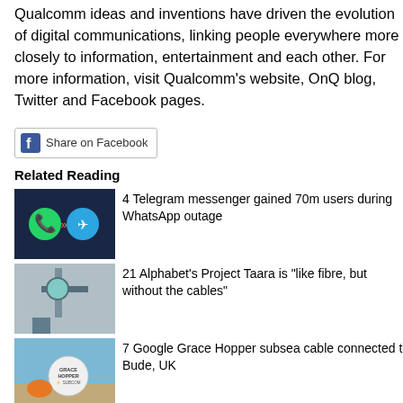Qualcomm ideas and inventions have driven the evolution of digital communications, linking people everywhere more closely to information, entertainment and each other. For more information, visit Qualcomm's website, OnQ blog, Twitter and Facebook pages.
[Figure (other): Facebook Share on Facebook button]
Related Reading
[Figure (photo): WhatsApp and Telegram logos on dark blue background]
4 Telegram messenger gained 70m users during WhatsApp outage
[Figure (photo): Wireless internet antenna/dish on a pole outdoors]
21 Alphabet's Project Taara is "like fibre, but without the cables"
[Figure (photo): Grace Hopper subsea cable buoy on a beach]
7 Google Grace Hopper subsea cable connected to Bude, UK
FTTP saturation: Western Europe broadband speeds plateau Qnap TS-451D2 Dell updates XPS and Alienware desktops with Alder Lake CPUs